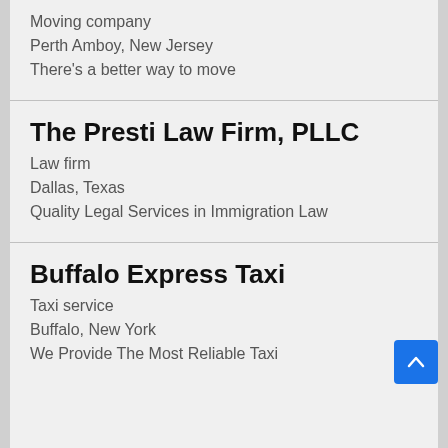Moving company
Perth Amboy, New Jersey
There's a better way to move
The Presti Law Firm, PLLC
Law firm
Dallas, Texas
Quality Legal Services in Immigration Law
Buffalo Express Taxi
Taxi service
Buffalo, New York
We Provide The Most Reliable Taxi